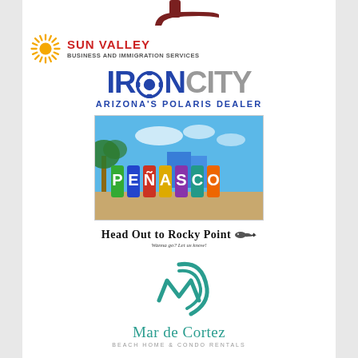[Figure (logo): Partial dark brown/maroon pistol/gun logo at top, partially cropped]
[Figure (logo): Sun Valley Business and Immigration Services logo: yellow starburst icon on left, SUN VALLEY in red bold text, BUSINESS AND IMMIGRATION SERVICES in gray smaller text]
[Figure (logo): Iron City Arizona's Polaris Dealer logo: IRON in dark blue bold with gear O, CITY in gray, ARIZONA'S POLARIS DEALER in blue text below]
[Figure (photo): Colorful PENASCO sign letters against blue sky and palm trees in Puerto Penasco / Rocky Point, Mexico]
[Figure (logo): Head Out to Rocky Point logo with fish icon and tagline Wanna go? Let us know!]
[Figure (logo): Mar de Cortez Beach Home & Condo Rentals logo with teal M swoosh icon and teal text]